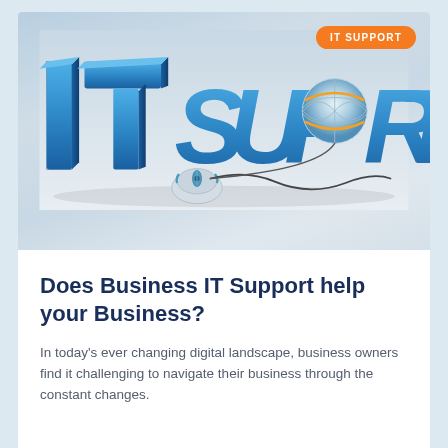[Figure (illustration): 3D blue bold letters spelling 'IT SUPPORT' with a globe replacing one letter O, a computer mouse with cord in the foreground, on a light grey reflective surface. An orange pill-shaped badge in the top-right corner reads 'IT SUPPORT'.]
Does Business IT Support help your Business?
In today's ever changing digital landscape, business owners find it challenging to navigate their business through the constant changes.